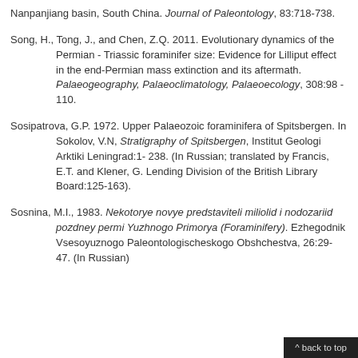Nanpanjiang basin, South China. Journal of Paleontology, 83:718-738.
Song, H., Tong, J., and Chen, Z.Q. 2011. Evolutionary dynamics of the Permian - Triassic foraminifer size: Evidence for Lilliput effect in the end-Permian mass extinction and its aftermath. Palaeogeography, Palaeoclimatology, Palaeoecology, 308:98 - 110.
Sosipatrova, G.P. 1972. Upper Palaeozoic foraminifera of Spitsbergen. In Sokolov, V.N, Stratigraphy of Spitsbergen, Institut Geologi Arktiki Leningrad:1- 238. (In Russian; translated by Francis, E.T. and Klener, G. Lending Division of the British Library Board:125-163).
Sosnina, M.I., 1983. Nekotorye novye predstaviteli miliolid i nodozariid pozdney permi Yuzhnogo Primorya (Foraminifery). Ezhegodnik Vsesoyuznogo Paleontologischeskogo Obshchestva, 26:29-47. (In Russian)
^ back to top